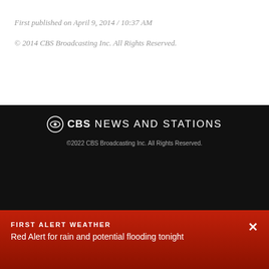First published on April 9, 2014 / 10:37 AM
© 2014 CBS Broadcasting Inc. All Rights Reserved.
[Figure (logo): CBS News and Stations logo with CBS eye symbol]
©2022 CBS Broadcasting Inc. All Rights Reserved.
CBS 2
Terms of Use
WLNY TV 10/55
Privacy Policy
Contact Us
Do Not Sell My Personal Information
Contests & Promotions
FIRST ALERT WEATHER
Red Alert for rain and potential flooding tonight